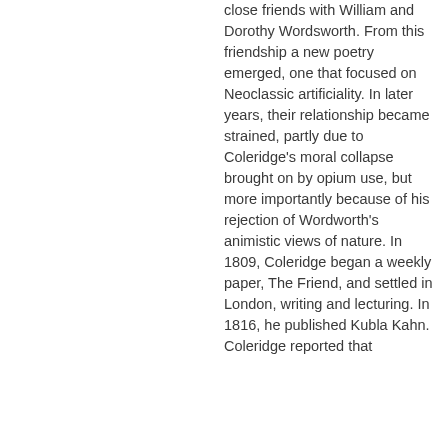close friends with William and Dorothy Wordsworth. From this friendship a new poetry emerged, one that focused on Neoclassic artificiality. In later years, their relationship became strained, partly due to Coleridge's moral collapse brought on by opium use, but more importantly because of his rejection of Wordworth's animistic views of nature. In 1809, Coleridge began a weekly paper, The Friend, and settled in London, writing and lecturing. In 1816, he published Kubla Kahn. Coleridge reported that